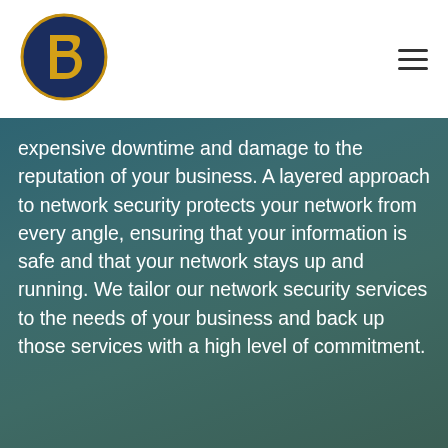[Figure (logo): Circular logo with dark navy background and golden/yellow stylized letter B or D shape in center]
expensive downtime and damage to the reputation of your business. A layered approach to network security protects your network from every angle, ensuring that your information is safe and that your network stays up and running. We tailor our network security services to the needs of your business and back up those services with a high level of commitment.